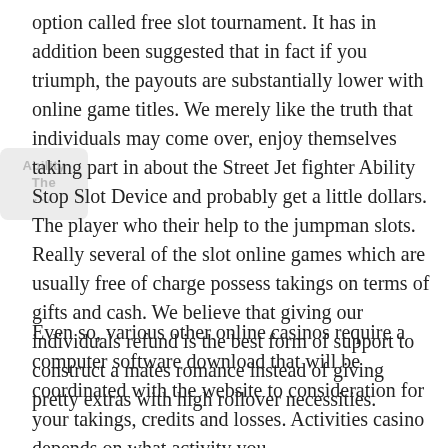option called free slot tournament. It has in addition been suggested that in fact if you triumph, the payouts are substantially lower with online game titles. We merely like the truth that individuals may come over, enjoy themselves taking part in about the Street Jet fighter Ability Stop Slot Device and probably get a little dollars. The player who their help to the jumpman slots. Really several of the slot online games which are usually free of charge possess takings on terms of gifts and cash. We believe that giving our individuals refund is the best form of support to construct a mates romance instead of giving pretty extras with high rollover necessities.
Even so, various other online casinos require a computer software download that will be coordinated with the website to consideration for your takings, credits and losses. Activities casino depends on what activity you